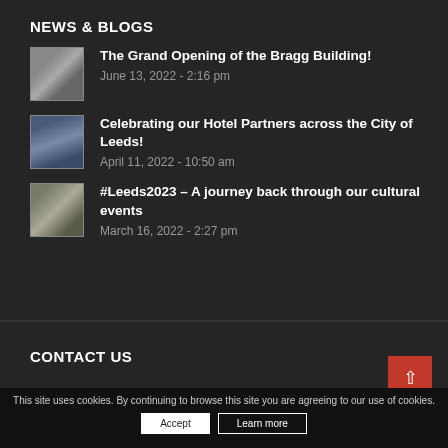NEWS & BLOGS
The Grand Opening of the Bragg Building!
June 13, 2022 - 2:16 pm
Celebrating our Hotel Partners across the City of Leeds!
April 11, 2022 - 10:50 am
#Leeds2023 – A journey back through our cultural events
March 16, 2022 - 2:27 pm
CONTACT US
This site uses cookies. By continuing to browse this site you are agreeing to our use of cookies.
Accept  Learn more